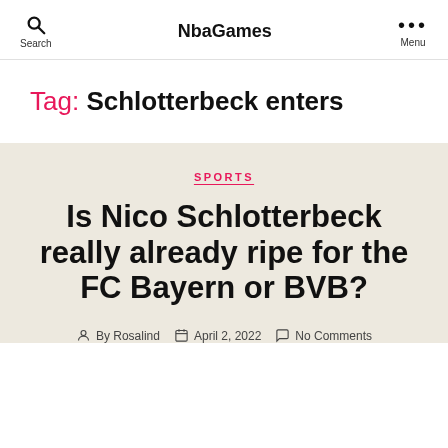NbaGames
Tag: Schlotterbeck enters
SPORTS
Is Nico Schlotterbeck really already ripe for the FC Bayern or BVB?
By Rosalind  April 2, 2022  No Comments